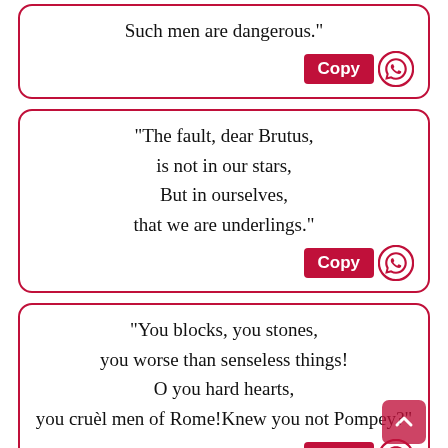Such men are dangerous."
"The fault, dear Brutus,
is not in our stars,
But in ourselves,
that we are underlings."
"You blocks, you stones,
you worse than senseless things!
O you hard hearts,
you cruèl men of Rome!Knew you not Pompey?"